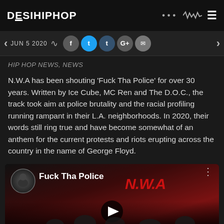DESIHIPHOP
JUN 5 2020
HIP HOP NEWS, NEWS
N.W.A has been shouting 'Fuck Tha Police' for over 30 years. Written by Ice Cube, MC Ren and The D.O.C., the track took aim at police brutality and the racial profiling running rampant in their L.A. neighborhoods. In 2020, their words still ring true and have become somewhat of an anthem for the current protests and riots erupting across the country in the name of George Floyd.
[Figure (screenshot): YouTube video thumbnail for 'Fuck Tha Police' by N.W.A with a dark red background, N.W.A logo in red cursive text, a circular channel icon on the left, and a play button at the bottom center.]